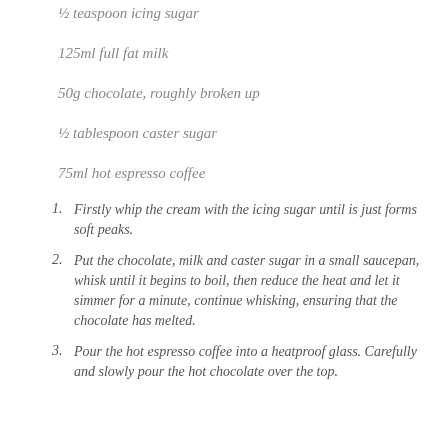½ teaspoon icing sugar
125ml full fat milk
50g chocolate, roughly broken up
½ tablespoon caster sugar
75ml hot espresso coffee
1. Firstly whip the cream with the icing sugar until is just forms soft peaks.
2. Put the chocolate, milk and caster sugar in a small saucepan, whisk until it begins to boil, then reduce the heat and let it simmer for a minute, continue whisking, ensuring that the chocolate has melted.
3. Pour the hot espresso coffee into a heatproof glass. Carefully and slowly pour the hot chocolate over the top.